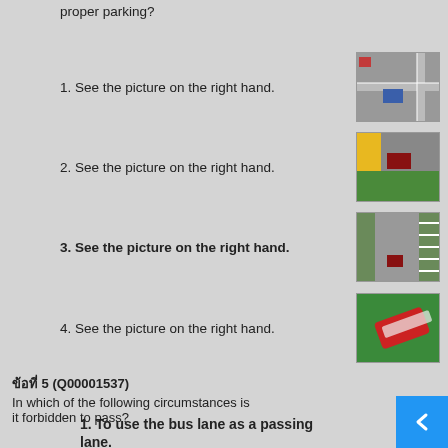proper parking?
1. See the picture on the right hand.
2. See the picture on the right hand.
3. See the picture on the right hand.
4. See the picture on the right hand.
ข้อที่ 5 (Q00001537)
In which of the following circumstances is it forbidden to pass?
1. To use the bus lane as a passing lane.
2. To use the left lane on the right side...